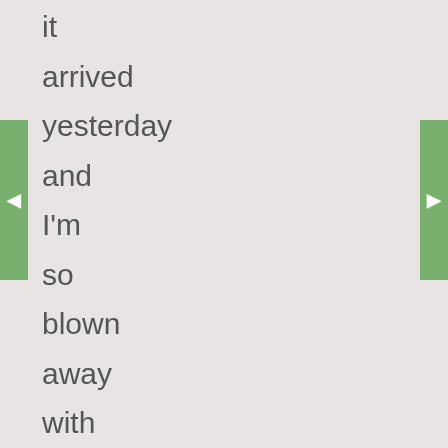it arrived yesterday and I'm so blown away with how gorgeous it is! He pieced the top with strips of wood,